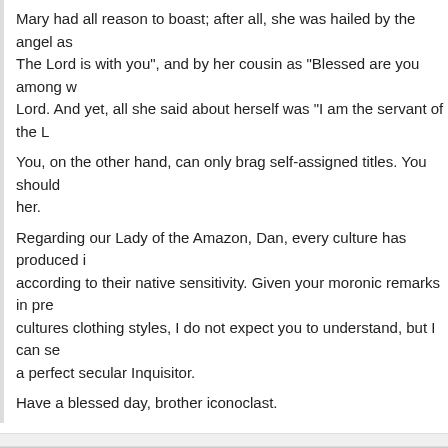Mary had all reason to boast; after all, she was hailed by the angel as "The Lord is with you", and by her cousin as "Blessed are you among w... Lord. And yet, all she said about herself was "I am the servant of the L...
You, on the other hand, can only brag self-assigned titles. You should... her.
Regarding our Lady of the Amazon, Dan, every culture has produced i... according to their native sensitivity. Given your moronic remarks in pre... cultures clothing styles, I do not expect you to understand, but I can se... a perfect secular Inquisitor.
Have a blessed day, brother iconoclast.
Dan says:
October 15, 2019 at 12:56 am
What answer could I come up with to convince totally indoctrinated ido... make excuses for and bless your perverted images, including your Qu... returns. I have warned you so you won't have any excuses when stan... Precious Son.
May it be clear that I have never attacked anyone's cherished beliefs,